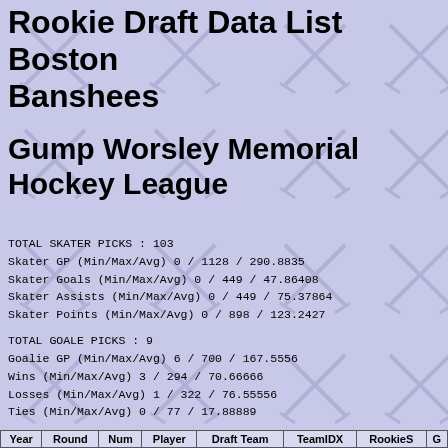Rookie Draft Data List Boston Banshees
Gump Worsley Memorial Hockey League
TOTAL SKATER PICKS : 103
Skater GP (Min/Max/Avg) 0 / 1128 / 290.8835
Skater Goals (Min/Max/Avg) 0 / 449 / 47.86408
Skater Assists (Min/Max/Avg) 0 / 449 / 75.37864
Skater Points (Min/Max/Avg) 0 / 898 / 123.2427
TOTAL GOALE PICKS : 9
Goalie GP (Min/Max/Avg) 6 / 700 / 167.5556
Wins (Min/Max/Avg) 3 / 294 / 70.66666
Losses (Min/Max/Avg) 1 / 322 / 76.55556
Ties (Min/Max/Avg) 0 / 77 / 17.88889
| Year | Round | Num | Player | Draft Team | TeamIDX | RookieS | G |
| --- | --- | --- | --- | --- | --- | --- | --- |